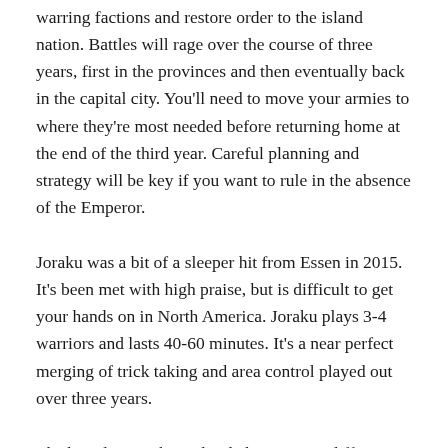warring factions and restore order to the island nation. Battles will rage over the course of three years, first in the provinces and then eventually back in the capital city. You'll need to move your armies to where they're most needed before returning home at the end of the third year. Careful planning and strategy will be key if you want to rule in the absence of the Emperor.
Joraku was a bit of a sleeper hit from Essen in 2015. It's been met with high praise, but is difficult to get your hands on in North America. Joraku plays 3-4 warriors and lasts 40-60 minutes. It's a near perfect merging of trick taking and area control played out over three years.
The board in Joraku is divided into seven different side-by-side areas or cities with Kyoto on the far left. Each of the towns to the east of Kyoto are numbered, from one to six. At the start of the game players will be dealt a card indicating a region and that will be the starting place for their Daimyo meeple. Each player